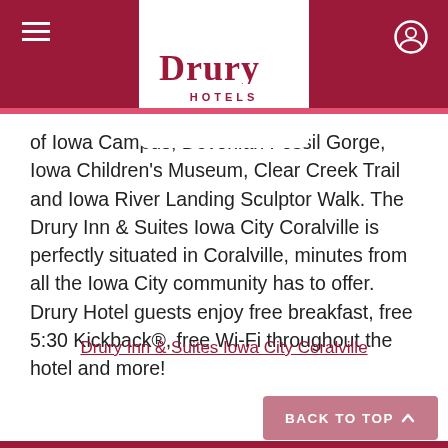Drury Hotels
of Iowa Campus, Devonian Fossil Gorge, Iowa Children's Museum, Clear Creek Trail and Iowa River Landing Sculptor Walk. The Drury Inn & Suites Iowa City Coralville is perfectly situated in Coralville, minutes from all the Iowa City community has to offer. Drury Hotel guests enjoy free breakfast, free 5:30 Kickback®, free Wi-Fi throughout the hotel and more!
Drury Inn & Suites Iowa City Coralville